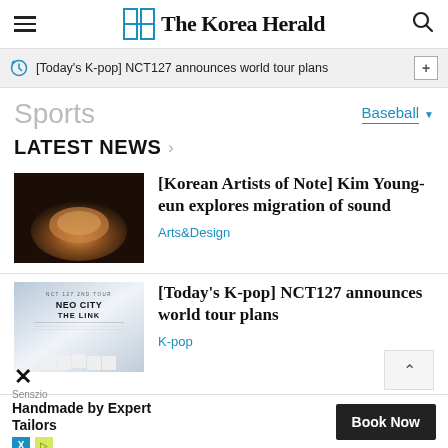The Korea Herald
[Today's K-pop] NCT127 announces world tour plans
Sports
Baseball
LATEST NEWS
[Figure (photo): Warm-toned abstract image, possibly a sculpture or architectural element with an egg or dome shape in dim amber lighting]
[Korean Artists of Note] Kim Young-eun explores migration of sound
Arts&Design
[Figure (photo): Promotional poster for NCT 127 2nd Tour: Neo City - The Link, showing the group members in white outfits against a light background]
[Today's K-pop] NCT127 announces world tour plans
K-pop
Senszio
Handmade by Expert Tailors
Book Now